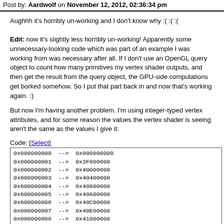Post by: Aardwolf on November 12, 2012, 02:36:34 pm
Aughhh it's horribly un-working and I don't know why :( :( :(
Edit: now it's slightly less horribly un-working! Apparently some unnecessary-looking code which was part of an example I was working from was necessary after all. If I don't use an OpenGL query object to count how many primitives my vertex shader outputs, and then get the result from the query object, the GPU-side computations get borked somehow. So I put that part back in and now that's working again. :)
But now I'm having another problem. I'm using integer-typed vertex attributes, and for some reason the values the vertex shader is seeing aren't the same as the values I give it:
Code: [Select]
| 0x000000000  -->  0x000000000 |
| 0x000000001  -->  0x3F800000 |
| 0x000000002  -->  0x40000000 |
| 0x000000003  -->  0x40400000 |
| 0x000000004  -->  0x40800000 |
| 0x000000005  -->  0x40A00000 |
| 0x000000006  -->  0x40C00000 |
| 0x000000007  -->  0x40E00000 |
| 0x000000008  -->  0x41000000 |
| 0x000000009  -->  0x41100000 |
| 0x00000000A  -->  0x41200000 |
| 0x00000000B  -->  0x41300000 |
| 0x00000000C  -->  0x41400000 |
| 0x00000000D  -->  0x41500000 |
| 0x00000000E  -->  0x41600000 |